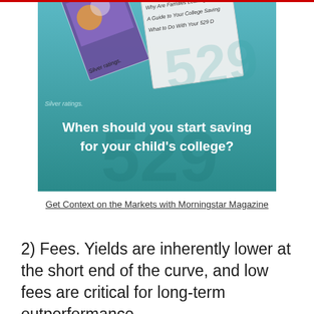[Figure (illustration): Morningstar Magazine advertisement image with teal gradient background. Shows magazine covers with text 'Grading on a...', 'Why Are Families Leaving...', 'A Guide to Your College Saving...', 'What to Do With Your 529 D...' and 'Silver ratings.' Overlay text in bold white: 'When should you start saving for your child's college?']
Get Context on the Markets with Morningstar Magazine
2) Fees. Yields are inherently lower at the short end of the curve, and low fees are critical for long-term outperformance.